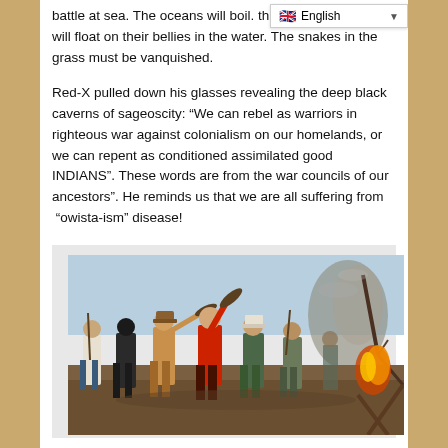battle at sea. The oceans will boil. the top down. The fish will float on their bellies in the water. The snakes in the grass must be vanquished.
Red-X pulled down his glasses revealing the deep black caverns of sageoscity: “We can rebel as warriors in righteous war against colonialism on our homelands, or we can repent as conditioned assimilated good INDIANS”. These words are from the war councils of our ancestors”. He reminds us that we are all suffering from “owista-ism” disease!
[Figure (illustration): Historical painting depicting a group of Native American warriors in battle, carrying weapons including rifles and tomahawks, with fire and smoke visible in the background among trees.]